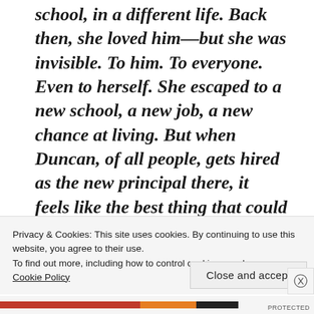school, in a different life. Back then, she loved him—but she was invisible. To him. To everyone. Even to herself. She escaped to a new school, a new job, a new chance at living. But when Duncan, of all people, gets hired as the new principal there, it feels like the best thing that could possibly happen to the
Privacy & Cookies: This site uses cookies. By continuing to use this website, you agree to their use.
To find out more, including how to control cookies, see here:
Cookie Policy
Close and accept